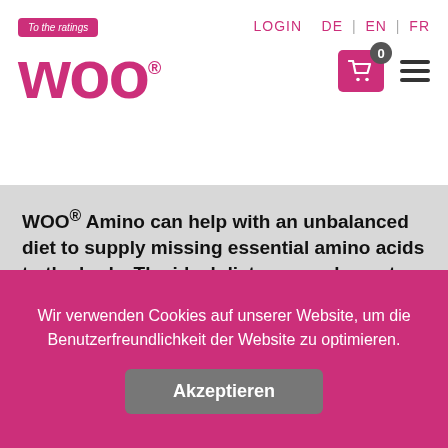[Figure (logo): WOO brand logo in pink/magenta with 'To the ratings' badge above]
LOGIN  DE | EN | FR
WOO® Amino can help with an unbalanced diet to supply missing essential amino acids to the body. The ideal dietary supplement.
Taste:
Passion fruit
Wir verwenden Cookies auf unserer Website, um die Benutzerfreundlichkeit der Website zu optimieren.
Akzeptieren